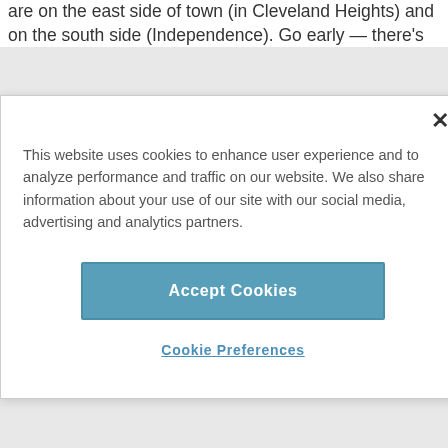are on the east side of town (in Cleveland Heights) and on the south side (Independence). Go early — there's
This website uses cookies to enhance user experience and to analyze performance and traffic on our website. We also share information about your use of our site with our social media, advertising and analytics partners.
Accept Cookies
Cookie Preferences